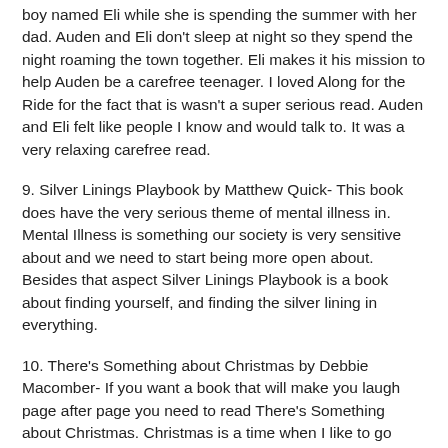boy named Eli while she is spending the summer with her dad. Auden and Eli don't sleep at night so they spend the night roaming the town together. Eli makes it his mission to help Auden be a carefree teenager. I loved Along for the Ride for the fact that is wasn't a super serious read. Auden and Eli felt like people I know and would talk to. It was a very relaxing carefree read.
9. Silver Linings Playbook by Matthew Quick- This book does have the very serious theme of mental illness in. Mental Illness is something our society is very sensitive about and we need to start being more open about. Besides that aspect Silver Linings Playbook is a book about finding yourself, and finding the silver lining in everything.
10. There's Something about Christmas by Debbie Macomber- If you want a book that will make you laugh page after page you need to read There's Something about Christmas. Christmas is a time when I like to go away from serious books and just enjoy the positive things about life. There's Something about Christmas is literally about fruitcake, but once you read it you will realize it is about so